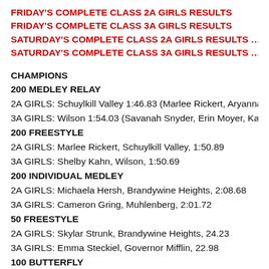FRIDAY'S COMPLETE CLASS 2A GIRLS RESULTS
FRIDAY'S COMPLETE CLASS 3A GIRLS RESULTS
SATURDAY'S COMPLETE CLASS 2A GIRLS RESULTS … 2A GIR
SATURDAY'S COMPLETE CLASS 3A GIRLS RESULTS … 3A GIR
CHAMPIONS
200 MEDLEY RELAY
2A GIRLS:  Schuylkill Valley 1:46.83 (Marlee Rickert, Aryanna Kulp, …
3A GIRLS:  Wilson 1:54.03 (Savanah Snyder, Erin Moyer, Kaitlyn Bit…
200 FREESTYLE
2A GIRLS:  Marlee Rickert, Schuylkill Valley, 1:50.89
3A GIRLS:  Shelby Kahn, Wilson, 1:50.69
200 INDIVIDUAL MEDLEY
2A GIRLS:  Michaela Hersh, Brandywine Heights, 2:08.68
3A GIRLS:  Cameron Gring, Muhlenberg, 2:01.72
50 FREESTYLE
2A GIRLS:  Skylar Strunk, Brandywine Heights, 24.23
3A GIRLS:  Emma Steckiel, Governor Mifflin, 22.98
100 BUTTERFLY
2A GIRLS:  Megan Ehrnfeldt, Schuylkill Valley, 56.71
3A GIRLS:  Sydney Gring, Muhlenberg, 55.01